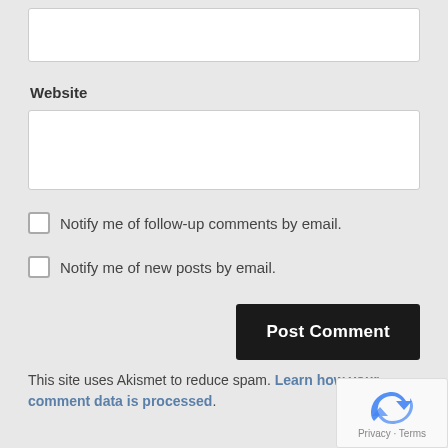[Figure (screenshot): Empty text input box for a form field]
Website
[Figure (screenshot): Empty text input box for Website field]
Notify me of follow-up comments by email.
Notify me of new posts by email.
Post Comment
This site uses Akismet to reduce spam. Learn how your comment data is processed.
[Figure (logo): reCAPTCHA logo with Privacy - Terms footer]